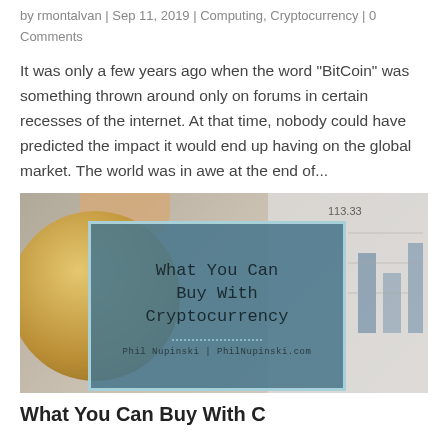by rmontalvan | Sep 11, 2019 | Computing, Cryptocurrency | 0 Comments
It was only a few years ago when the word "BitCoin" was something thrown around only on forums in certain recesses of the internet. At that time, nobody could have predicted the impact it would end up having on the global market. The world was in awe at the end of...
[Figure (photo): Photo of a hand holding a Bitcoin coin with a financial chart in the background, overlaid with a teal card reading 'What You Can Buy With Cryptocurrency' by Phil Nupinski | PhilNupinski.com]
What You Can Buy With Cryptocurrency